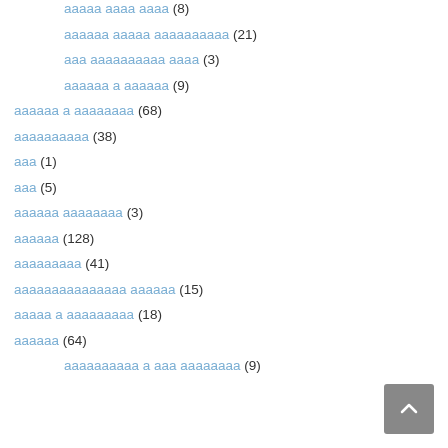ааааа ааааа ааааа (8)
аааааа аааааа аааааааааа (21)
ааа аааааааааа ааааа (3)
аааааа а аааааа (9)
аааааа а аааааааа (68)
аааааааааа (38)
ааа (1)
ааа (5)
аааааа аааааааа (3)
аааааа (128)
ааааааааа (41)
ааааааааааааааа аааааа (15)
ааааа а ааааааааа (18)
аааааа (64)
аааааааааа а ааа аааааааа (9)